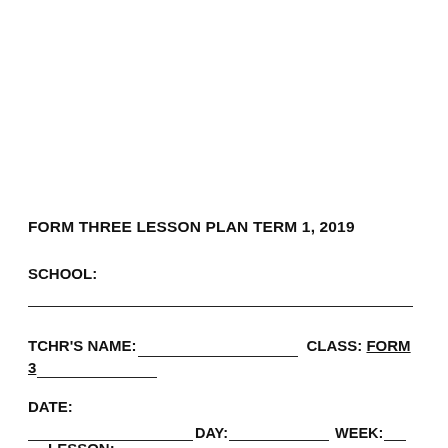FORM THREE LESSON PLAN TERM 1, 2019
SCHOOL:
TCHR'S NAME:__________________ CLASS: FORM 3______________
DATE:
_________________________ DAY:________________ WEEK:___
LESSON: